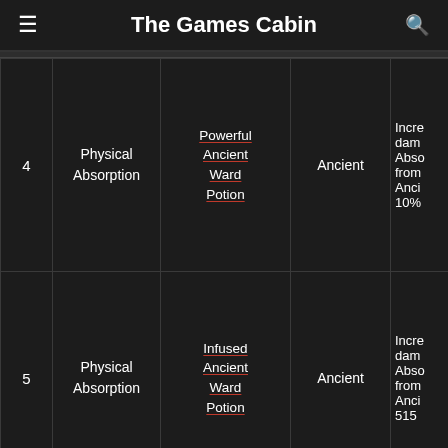The Games Cabin
| # | Name | Item | Category | Effect |
| --- | --- | --- | --- | --- |
| 4 | Physical Absorption | Powerful Ancient Ward Potion | Ancient | Incre dam Abso from Anci 10% |
| 5 | Physical Absorption | Infused Ancient Ward Potion | Ancient | Incre dam Abso from Anci 515 |